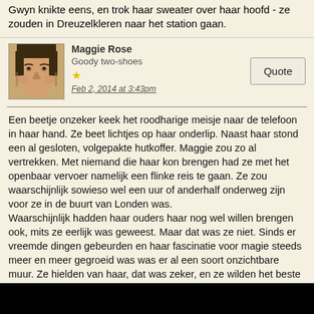Gwyn knikte eens, en trok haar sweater over haar hoofd - ze zouden in Dreuzelkleren naar het station gaan.
Maggie Rose
Goody two-shoes
★
Feb 2, 2014 at 3:43pm
Een beetje onzeker keek het roodharige meisje naar de telefoon in haar hand. Ze beet lichtjes op haar onderlip. Naast haar stond een al gesloten, volgepakte hutkoffer. Maggie zou zo al vertrekken. Met niemand die haar kon brengen had ze met het openbaar vervoer namelijk een flinke reis te gaan. Ze zou waarschijnlijk sowieso wel een uur of anderhalf onderweg zijn voor ze in de buurt van Londen was.
Waarschijnlijk hadden haar ouders haar nog wel willen brengen ook, mits ze eerlijk was geweest. Maar dat was ze niet. Sinds er vreemde dingen gebeurden en haar fascinatie voor magie steeds meer en meer gegroeid was was er al een soort onzichtbare muur. Ze hielden van haar, dat was zeker, en ze wilden het beste voor hun dochter, maar magie paste niet in hun wereld. De Zoon, de Vader en de Heilige Geest speelden de hoofdrol in huize Rose. Het was de reden dat de jonge Maggie sinds een half jaar op kamers woonde. Het leven in de gemeenschap was te verstikkend geweest, te vol van vooroordelen. De brief van Zweinstein eerder deze zomer was een bevrijding geweest. Alles was op zijn plaats gevallen, maar ook het feit dat ze niet in de christelijke gemeenschap waarvan haar